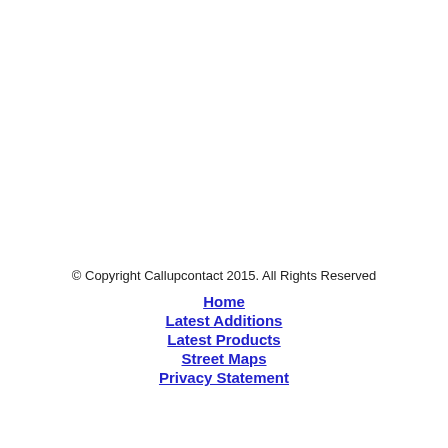© Copyright Callupcontact 2015. All Rights Reserved
Home
Latest Additions
Latest Products
Street Maps
Privacy Statement